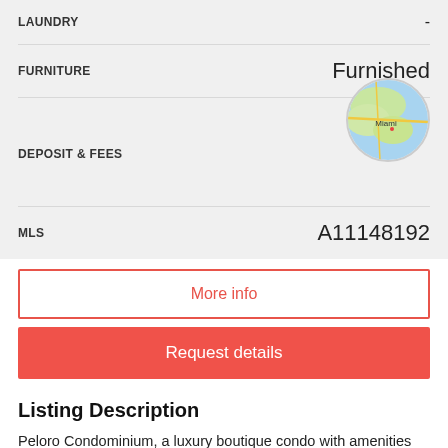| Field | Value |
| --- | --- |
| LAUNDRY | - |
| FURNITURE | Furnished |
| DEPOSIT & FEES |  |
| MLS | A11148192 |
[Figure (map): Circular map thumbnail showing Miami area location]
More info
Request details
Listing Description
Peloro Condominium, a luxury boutique condo with amenities that include a grand atrium with waterfalls, waterfront pool, fitness center, concierge. This spectacular 2 bedroom, 1 den and 2 bathroom unit for rent is professionally decorated and located on the first floor with a large patio accessible